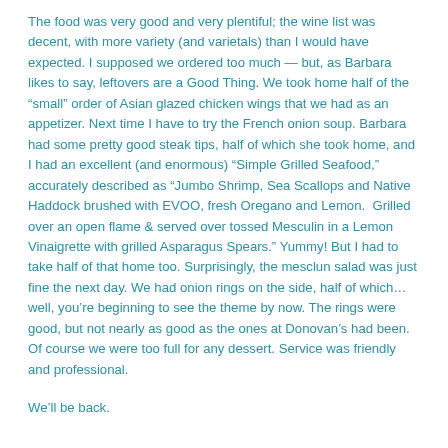The food was very good and very plentiful; the wine list was decent, with more variety (and varietals) than I would have expected. I supposed we ordered too much — but, as Barbara likes to say, leftovers are a Good Thing. We took home half of the “small” order of Asian glazed chicken wings that we had as an appetizer. Next time I have to try the French onion soup. Barbara had some pretty good steak tips, half of which she took home, and I had an excellent (and enormous) “Simple Grilled Seafood,” accurately described as “Jumbo Shrimp, Sea Scallops and Native Haddock brushed with EVOO, fresh Oregano and Lemon.  Grilled over an open flame & served over tossed Mesculin in a Lemon Vinaigrette with grilled Asparagus Spears.” Yummy! But I had to take half of that home too. Surprisingly, the mesclun salad was just fine the next day. We had onion rings on the side, half of which…well, you’re beginning to see the theme by now. The rings were good, but not nearly as good as the ones at Donovan’s had been. Of course we were too full for any dessert. Service was friendly and professional.
We’ll be back.